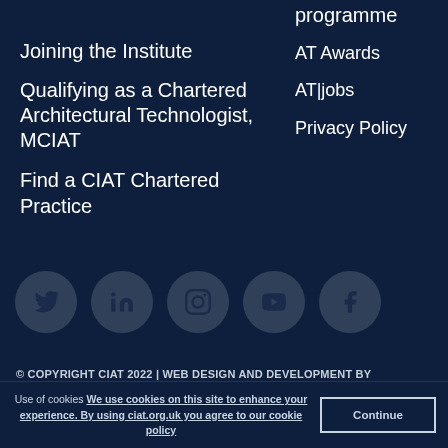programme
Joining the Institute
AT Awards
Qualifying as a Chartered Architectural Technologist, MCIAT
AT|jobs
Privacy Policy
Find a CIAT Chartered Practice
[Figure (infographic): Row of 5 social media icon buttons (circular buttons): Twitter, LinkedIn, Instagram, YouTube, Facebook]
© COPYRIGHT CIAT 2022 | WEB DESIGN AND DEVELOPMENT BY
✣ PIXL8 INTERACTIVE CHARTERED INSTITUTE OF ARCHITECTURAL TECHNOLOGISTS
Use of cookies We use cookies on this site to enhance your experience. By using ciat.org.uk you agree to our cookie policy   Continue